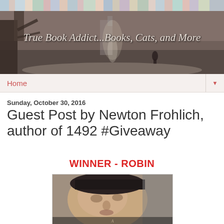[Figure (illustration): Blog header banner showing books spines at top, and a misty scene with a tree, a figure/cat, and castle in background. Text reads: True Book Addict...Books, Cats, and More]
Home
Sunday, October 30, 2016
Guest Post by Newton Frohlich, author of 1492 #Giveaway
WINNER - ROBIN
[Figure (photo): Book cover image showing a portrait of Christopher Columbus or a Renaissance-era man wearing a dark hat, against a gray background]